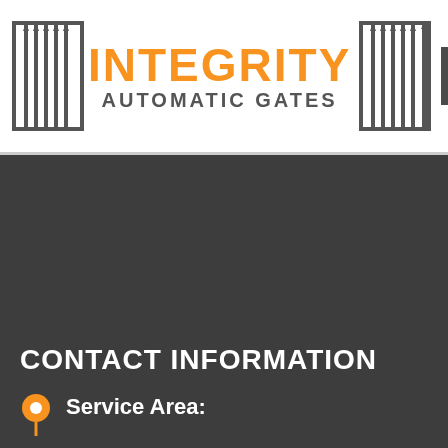INTEGRITY AUTOMATIC GATES
[Figure (logo): Integrity Automatic Gates logo with two gate icons flanking the company name in orange and gray text, plus a hamburger menu button]
CONTACT INFORMATION
Service Area: